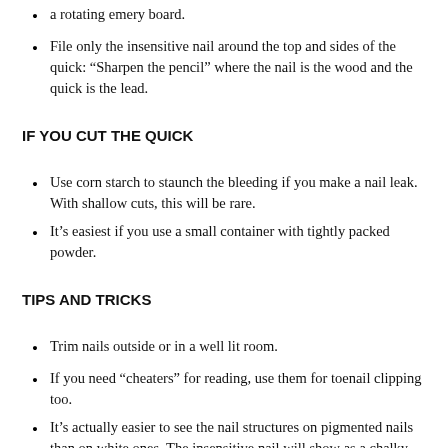a rotating emery board.
File only the insensitive nail around the top and sides of the quick: “Sharpen the pencil” where the nail is the wood and the quick is the lead.
IF YOU CUT THE QUICK
Use corn starch to staunch the bleeding if you make a nail leak. With shallow cuts, this will be rare.
It’s easiest if you use a small container with tightly packed powder.
TIPS AND TRICKS
Trim nails outside or in a well lit room.
If you need “cheaters” for reading, use them for toenail clipping too.
It’s actually easier to see the nail structures on pigmented nails than on white ones. The insensitive nail will show as a chalky